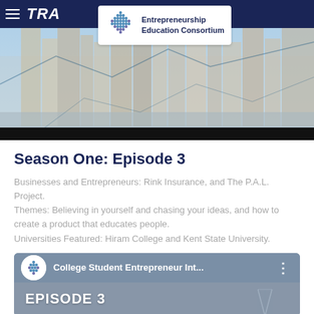[Figure (screenshot): Hero banner image with city skyline background, dark navy navigation bar reading 'TRA...' and the Entrepreneurship Education Consortium logo badge overlay]
Season One: Episode 3
Businesses and Entrepreneurs: Rink Insurance, and The P.A.L. Project.
Themes: Believing in yourself and chasing your ideas, and how to create a product that educates people.
Universities Featured: Hiram College and Kent State University.
[Figure (screenshot): Video thumbnail for 'College Student Entrepreneur Int...' showing channel icon, episode label EPISODE 3 on gray/blue background]